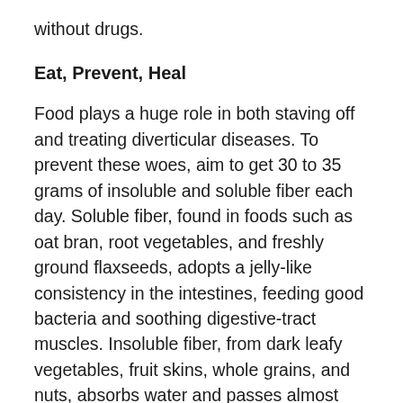without drugs.
Eat, Prevent, Heal
Food plays a huge role in both staving off and treating diverticular diseases. To prevent these woes, aim to get 30 to 35 grams of insoluble and soluble fiber each day. Soluble fiber, found in foods such as oat bran, root vegetables, and freshly ground flaxseeds, adopts a jelly-like consistency in the intestines, feeding good bacteria and soothing digestive-tract muscles. Insoluble fiber, from dark leafy vegetables, fruit skins, whole grains, and nuts, absorbs water and passes almost unchanged through the intestinal tract, easing bowel movements.